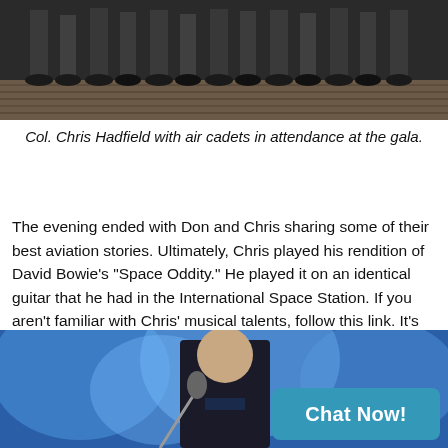[Figure (photo): Partial photo showing legs and shoes of a row of people, likely air cadets, standing on a wooden floor at a gala event.]
Col. Chris Hadfield with air cadets in attendance at the gala.
The evening ended with Don and Chris sharing some of their best aviation stories. Ultimately, Chris played his rendition of David Bowie's "Space Oddity." He played it on an identical guitar that he had in the International Space Station. If you aren't familiar with Chris' musical talents, follow this link. It's well worth the five minutes.
[Figure (photo): Photo of a man in a suit with a bow tie standing at a microphone on a stage with blue lighting in the background. A 'Chat Now!' button overlay appears in the bottom right corner.]